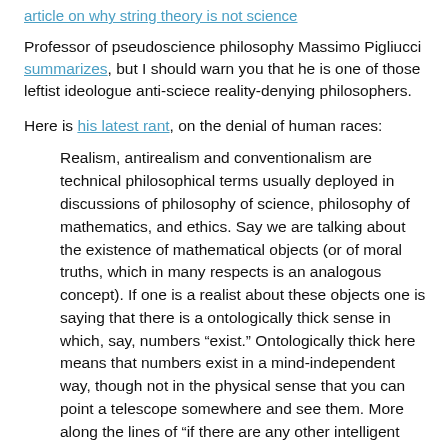article on why string theory is not science
Professor of pseudoscience philosophy Massimo Pigliucci summarizes, but I should warn you that he is one of those leftist ideologue anti-sciece reality-denying philosophers.
Here is his latest rant, on the denial of human races:
Realism, antirealism and conventionalism are technical philosophical terms usually deployed in discussions of philosophy of science, philosophy of mathematics, and ethics. Say we are talking about the existence of mathematical objects (or of moral truths, which in many respects is an analogous concept). If one is a realist about these objects one is saying that there is a ontologically thick sense in which, say, numbers “exist.” Ontologically thick here means that numbers exist in a mind-independent way, though not in the physical sense that you can point a telescope somewhere and see them. More along the lines of “if there are any other intelligent beings in the cosmos they will